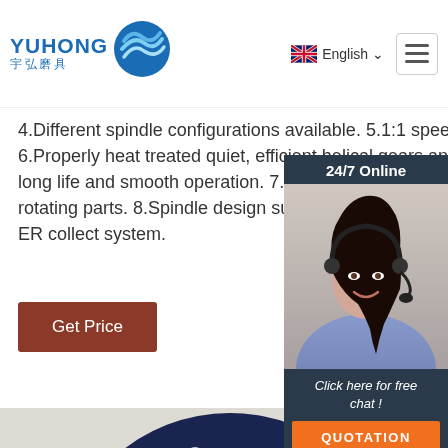YUHONG 宇弘磨具 | English
4.Different spindle configurations available. 5.1:1 speed ratios. 6.Properly heat treated quiet, efficient helical gears and spindles for long life and smooth operation. 7.Extremely precise tolerances on all rotating parts. 8.Spindle design suitable for high precision in standard ER collect system.
Get Price
[Figure (photo): Customer service representative with headset, 24/7 Online chat widget with QUOTATION button]
[Figure (photo): Grinding wheel disc product photo showing blue and red disc labeled 'Grinding W...' with safety icons]
TOP